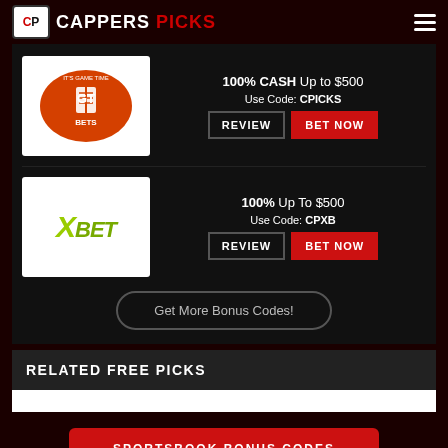CAPPERS PICKS
[Figure (logo): GT Bets logo - orange football with GT BETS text]
100% CASH Up to $500 Use Code: CPICKS
[Figure (logo): XBet logo - green stylized X with BET text]
100% Up To $500 Use Code: CPXB
Get More Bonus Codes!
RELATED FREE PICKS
SPORTSBOOK BONUS CODES